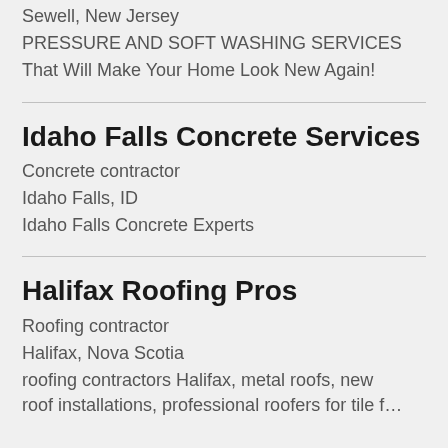Sewell, New Jersey
PRESSURE AND SOFT WASHING SERVICES
That Will Make Your Home Look New Again!
Idaho Falls Concrete Services
Concrete contractor
Idaho Falls, ID
Idaho Falls Concrete Experts
Halifax Roofing Pros
Roofing contractor
Halifax, Nova Scotia
roofing contractors Halifax, metal roofs, new roof installations, professional roofers for tile f…